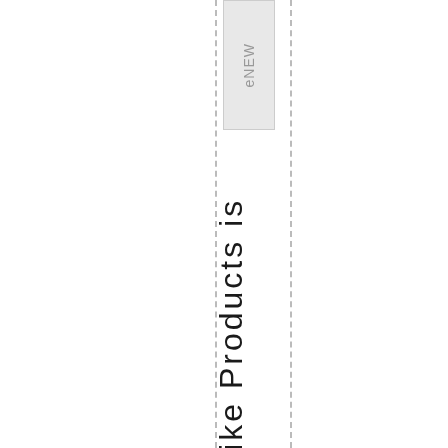eNEW
Foxtrot Mike Products is at it agai